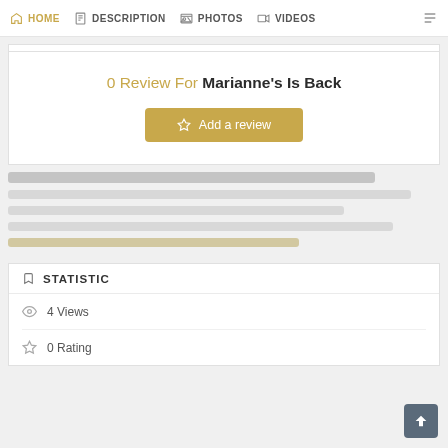HOME  DESCRIPTION  PHOTOS  VIDEOS
0 Review For Marianne's Is Back
Add a review
[Figure (other): Skeleton loading placeholder bars]
STATISTIC
4 Views
0 Rating